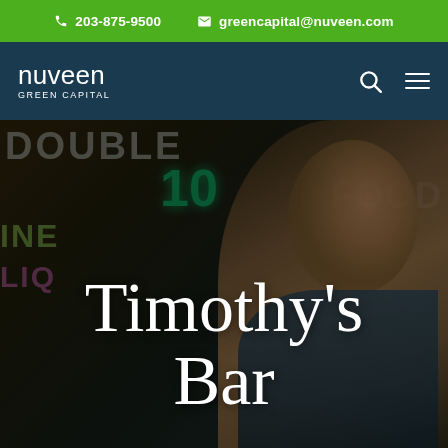203-875-9500   greencapital@nuveen.com
[Figure (logo): Nuveen Green Capital logo — white text on dark teal nav bar]
[Figure (photo): Hero image of a bar interior with neon signs reading DOUBLE, 10, FOOD, WINE, LIQUOR; a smiling man on the right side]
Timothy's Bar